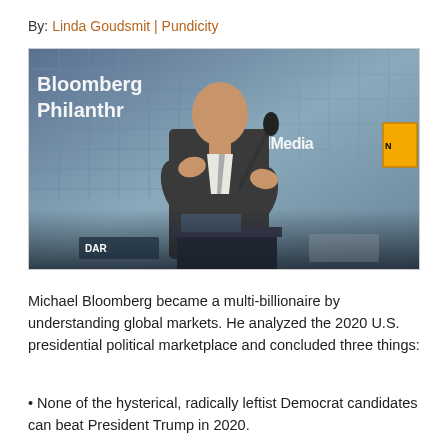By: Linda Goudsmit | Pundicity
[Figure (photo): Michael Bloomberg speaking at a podium with Bloomberg Philanthropies and RadicalMedia signage in the background, alongside solar panel imagery and a National Geographic logo.]
Michael Bloomberg became a multi-billionaire by understanding global markets. He analyzed the 2020 U.S. presidential political marketplace and concluded three things:
None of the hysterical, radically leftist Democrat candidates can beat President Trump in 2020.